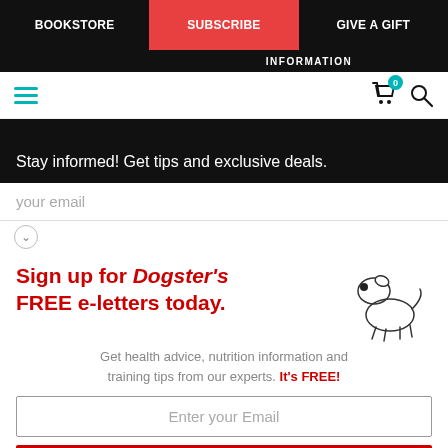BOOKSTORE   SUBSCRIBE   GIVE A GIFT
INFORMATION
Stay informed! Get tips and exclusive deals.
your email
Sign up for Dogster's FREE e-letters today.
Get health advice, nutrition information and training tips from our experts. It's FREE!
Enter your Email
YES! SIGN ME UP